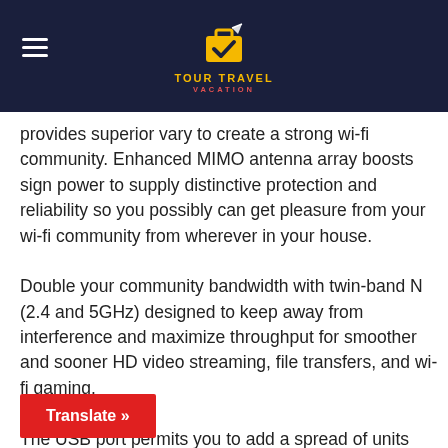TOUR TRAVEL VACATION
provides superior vary to create a strong wi-fi community. Enhanced MIMO antenna array boosts sign power to supply distinctive protection and reliability so you possibly can get pleasure from your wi-fi community from wherever in your house.
Double your community bandwidth with twin-band N (2.4 and 5GHz) designed to keep away from interference and maximize throughput for smoother and sooner HD video streaming, file transfers, and wi-fi gaming.
The USB port permits you to add a spread of units equivalent to storage and printers to share recordsdata at dwelling or over the Internet for larger entry to extra data.